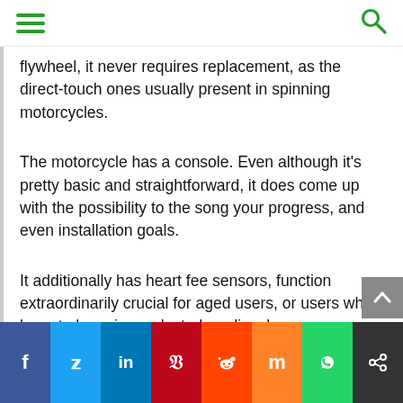[hamburger menu icon] [search icon]
flywheel, it never requires replacement, as the direct-touch ones usually present in spinning motorcycles.
The motorcycle has a console. Even although it's pretty basic and straightforward, it does come up with the possibility to the song your progress, and even installation goals.
It additionally has heart fee sensors, function extraordinarily crucial for aged users, or users who have to keep in a selected cardio c language.
Drawbacks
f  [Twitter]  in  [Pinterest]  [Reddit]  m  [WhatsApp]  [Share]